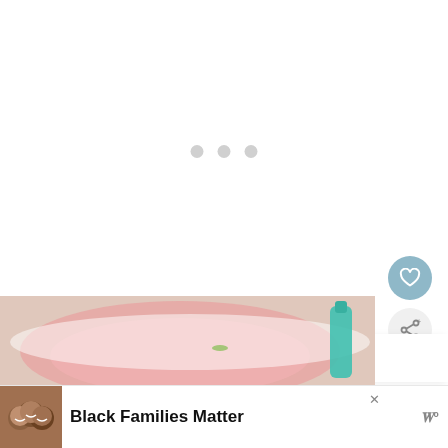[Figure (other): Loading indicator with three grey dots centered on a white background]
[Figure (other): Heart/favorite button — circular grey-blue button with white heart icon]
[Figure (other): Share button — circular light grey button with share/network icon]
WHAT'S NEXT → Berry Exciting
[Figure (photo): Bottom photo strip showing food image — pink smoothie or dessert with watermelon, teal bottle visible]
[Figure (photo): Ad banner left image — smiling family, three people looking up at camera]
Black Families Matter
[Figure (logo): W logo mark — Wellness or brand logo in grey]